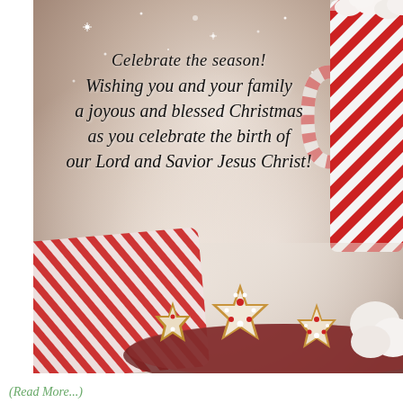[Figure (photo): Christmas greeting card photo with snowy bokeh background, candy-cane striped mug with marshmallows on right, red and white striped cloth/blanket on lower left, decorated star-shaped Christmas cookies on a plate in foreground, with cursive holiday greeting text overlaid.]
Celebrate the season! Wishing you and your family a joyous and blessed Christmas as you celebrate the birth of our Lord and Savior Jesus Christ!
(Read More...)